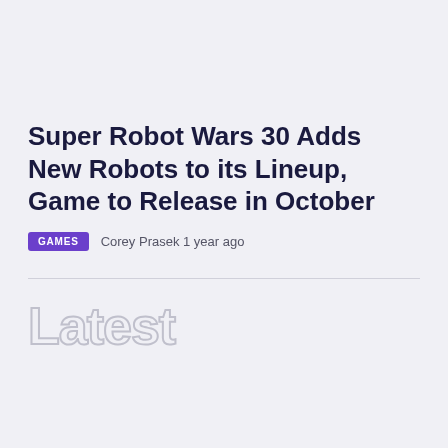Super Robot Wars 30 Adds New Robots to its Lineup, Game to Release in October
GAMES   Corey Prasek 1 year ago
Latest